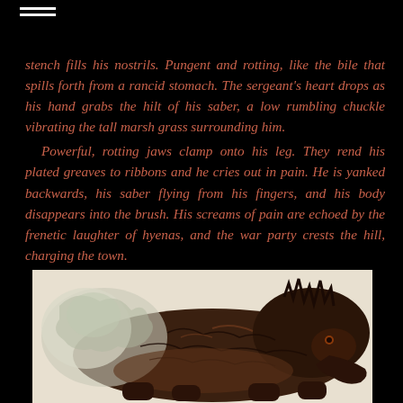≡
stench fills his nostrils.  Pungent and rotting, like the bile that spills forth from a rancid stomach.   The sergeant's heart drops as his hand grabs the hilt of his saber, a low rumbling chuckle vibrating the tall marsh grass surrounding him.
   Powerful, rotting jaws clamp onto his leg.  They rend his plated greaves to ribbons and he cries out in pain.  He is yanked backwards, his saber flying from his fingers, and his body disappears into the brush.  His screams of pain are echoed by the frenetic laughter of hyenas, and the war party crests the hill, charging the town.
[Figure (illustration): Illustrated creature or beast, appearing to be a large dark-furred animal with visible anatomy details, drawn in a detailed painterly style with brown and dark tones against a light background.]